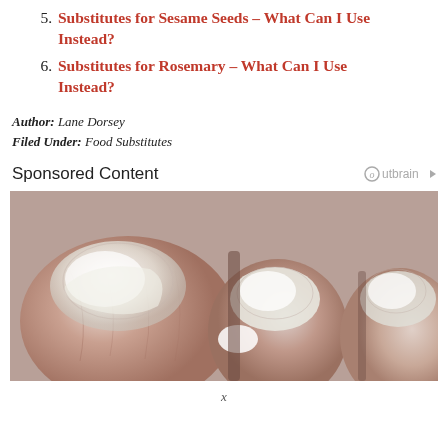5. Substitutes for Sesame Seeds – What Can I Use Instead?
6. Substitutes for Rosemary – What Can I Use Instead?
Author: Lane Dorsey
Filed Under: Food Substitutes
Sponsored Content
[Figure (photo): Close-up photograph of toes with a white cream or treatment applied to the toenails and surrounding skin, showing signs of a nail condition.]
x